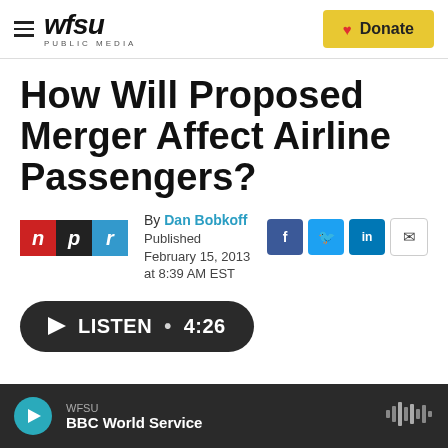WFSU PUBLIC MEDIA | Donate
How Will Proposed Merger Affect Airline Passengers?
By Dan Bobkoff
Published February 15, 2013 at 8:39 AM EST
LISTEN • 4:26
WFSU BBC World Service